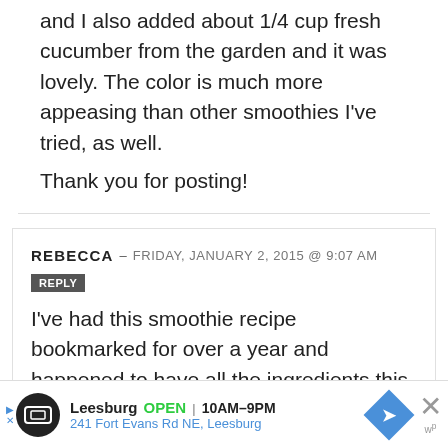and I also added about 1/4 cup fresh cucumber from the garden and it was lovely.  The color is much more appeasing than other smoothies I've tried, as well.
Thank you for posting!
REBECCA — FRIDAY, JANUARY 2, 2015 @ 9:07 AM
REPLY
I've had this smoothie recipe bookmarked for over a year and happened to have all the ingredients this morning...wow.  This is one tasty smoothie that isn't grossly thick or tasting
[Figure (screenshot): Advertisement banner for Leesburg showing store hours OPEN 10AM-9PM and address 241 Fort Evans Rd NE, Leesburg]